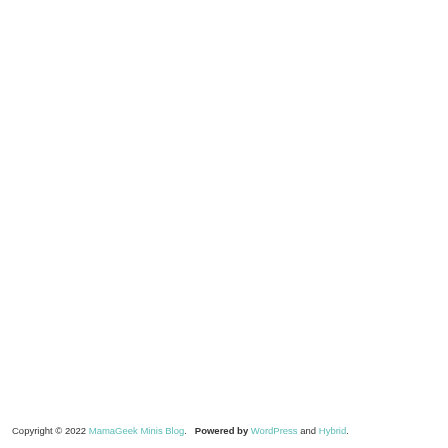Copyright © 2022 MamaGeek Minis Blog.   Powered by WordPress and Hybrid.